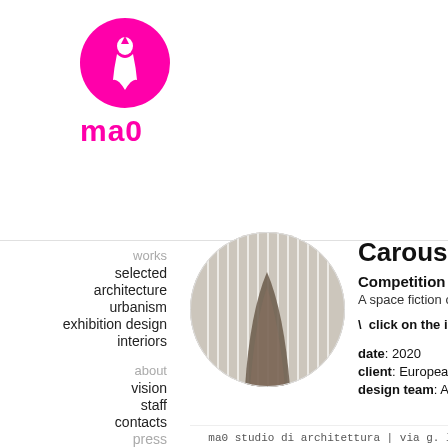[Figure (logo): ma0 architecture studio logo: magenta circle with white figure silhouette, bold magenta text 'ma0' below]
works
selected
architecture
urbanism
exhibition design
interiors
about
vision
staff
contacts
press
[Figure (photo): Circular cropped photo showing white curtain strings/rods and a tent or fabric structure in sepia/grayscale tones]
Carousel
Competition
A space fiction o...
\ click on the im...
date: 2020
client: European...
design team: Alb...
ma0 studio di architettura | via g. libetta 15 00...